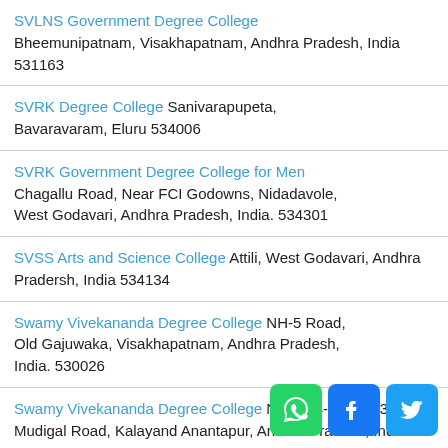SVLNS Government Degree College Bheemunipatnam, Visakhapatnam, Andhra Pradesh, India 531163
SVRK Degree College Sanivarapupeta, Bavaravaram, Eluru 534006
SVRK Government Degree College for Men Chagallu Road, Near FCI Godowns, Nidadavole, West Godavari, Andhra Pradesh, India. 534301
SVSS Arts and Science College Attili, West Godavari, Andhra Pradersh, India 534134
Swamy Vivekananda Degree College NH-5 Road, Old Gajuwaka, Visakhapatnam, Andhra Pradesh, India. 530026
Swamy Vivekananda Degree College No : 344-1Aand135/2, Mudigal Road, Kalayand Anantapur, Andhra Pradesh, India